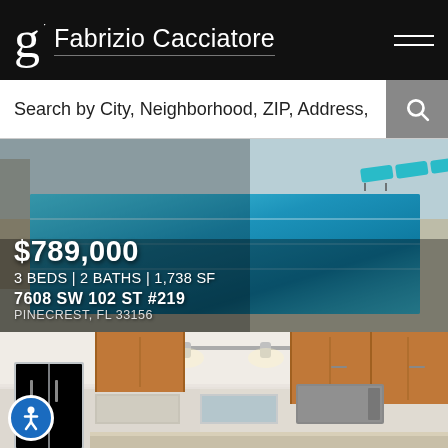Fabrizio Cacciatore
Search by City, Neighborhood, ZIP, Address,
[Figure (photo): Outdoor swimming pool with blue water, lounge chairs, and pool deck area]
$789,000
3 BEDS | 2 BATHS | 1,738 SF
7608 SW 102 ST #219
PINECREST, FL 33156
[Figure (photo): Interior kitchen photo showing wood cabinets, track lighting, stainless steel appliances including refrigerator and microwave]